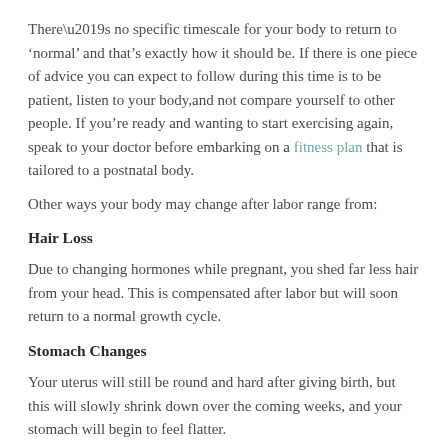There’s no specific timescale for your body to return to ‘normal’ and that’s exactly how it should be. If there is one piece of advice you can expect to follow during this time is to be patient, listen to your body,and not compare yourself to other people. If you’re ready and wanting to start exercising again, speak to your doctor before embarking on a fitness plan that is tailored to a postnatal body.
Other ways your body may change after labor range from:
Hair Loss
Due to changing hormones while pregnant, you shed far less hair from your head. This is compensated after labor but will soon return to a normal growth cycle.
Stomach Changes
Your uterus will still be round and hard after giving birth, but this will slowly shrink down over the coming weeks, and your stomach will begin to feel flatter.